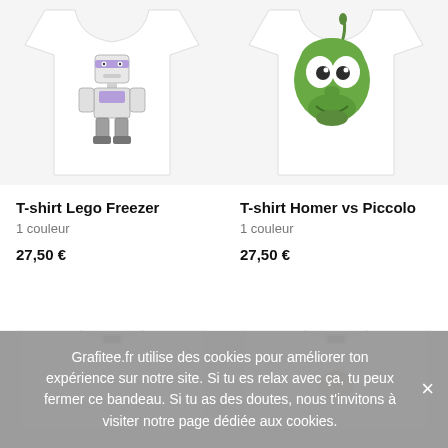[Figure (photo): White t-shirt with a Lego Freezer character graphic on the front, product photo top portion]
[Figure (photo): White t-shirt with Homer vs Piccolo graphic (green cartoon face) on the front, product photo top portion]
T-shirt Lego Freezer
1 couleur
27,50 €
T-shirt Homer vs Piccolo
1 couleur
27,50 €
[Figure (photo): Bottom portion of a white t-shirt product, second row left item]
[Figure (photo): Bottom portion of a white t-shirt product, second row right item]
Grafitee.fr utilise des cookies pour améliorer ton expérience sur notre site. Si tu es relax avec ça, tu peux fermer ce bandeau. Si tu as des doutes, nous t'invitons à visiter notre page dédiée aux cookies.